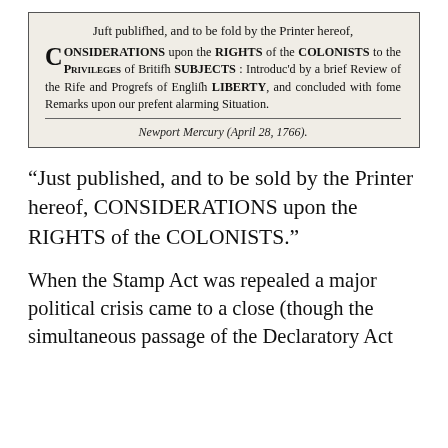[Figure (screenshot): Scanned newspaper advertisement box from Newport Mercury (April 28, 1766) advertising 'Just published, and to be sold by the Printer hereof, CONSIDERATIONS upon the RIGHTS of the COLONISTS to the PRIVILEGES of British SUBJECTS: Introduc'd by a brief Review of the Rise and Progress of English LIBERTY, and concluded with some Remarks upon our present alarming Situation.']
Newport Mercury (April 28, 1766).
“Just published, and to be sold by the Printer hereof, CONSIDERATIONS upon the RIGHTS of the COLONISTS.”
When the Stamp Act was repealed a major political crisis came to a close (though the simultaneous passage of the Declaratory Act